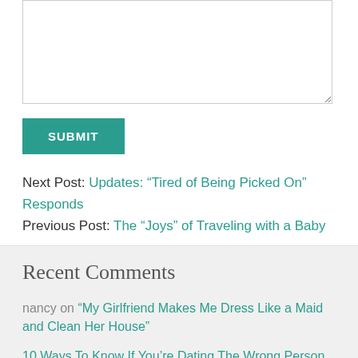[Figure (other): Text input textarea box with resize handle]
SUBMIT
Next Post: Updates: “Tired of Being Picked On” Responds
Previous Post: The “Joys” of Traveling with a Baby
Recent Comments
nancy on “My Girlfriend Makes Me Dress Like a Maid and Clean Her House”
10 Ways To Know If You’re Dating The Wrong Person on “He Doesn’t Care about My Passion”
Anonymousse on “Now That I’m a Mother, I’m Angry About How My Mother Raised Me”